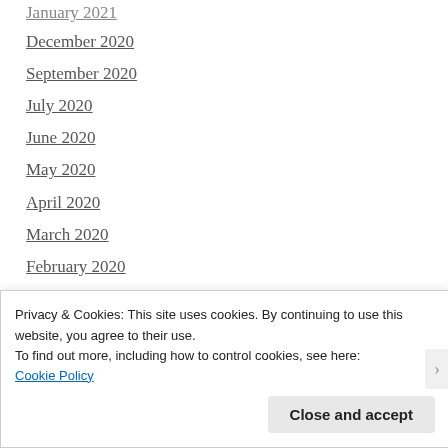January 2021
December 2020
September 2020
July 2020
June 2020
May 2020
April 2020
March 2020
February 2020
January 2020
December 2019
September 2019
August 2019
Privacy & Cookies: This site uses cookies. By continuing to use this website, you agree to their use.
To find out more, including how to control cookies, see here:
Cookie Policy
Close and accept